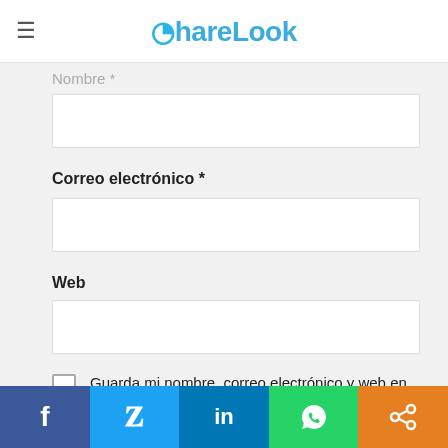ShareLook
Nombre *
Correo electrónico *
Web
Guarda mi nombre, correo electrónico y web en este navegador para la próxima vez que comente.
Please enter an answer in digits:
[Figure (screenshot): Social share bar with Facebook, Twitter, LinkedIn, WhatsApp, and share buttons]